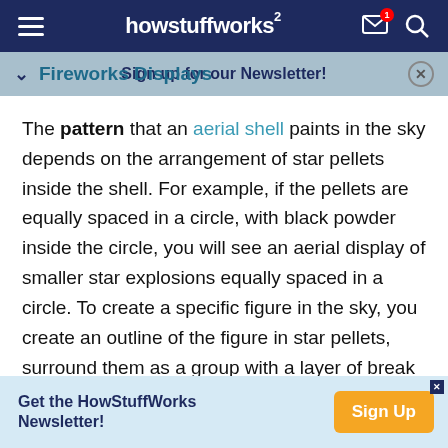howstuffworks
Fireworks Displays
The pattern that an aerial shell paints in the sky depends on the arrangement of star pellets inside the shell. For example, if the pellets are equally spaced in a circle, with black powder inside the circle, you will see an aerial display of smaller star explosions equally spaced in a circle. To create a specific figure in the sky, you create an outline of the figure in star pellets, surround them as a group with a layer of break charge to separate them
Get the HowStuffWorks Newsletter! Sign Up